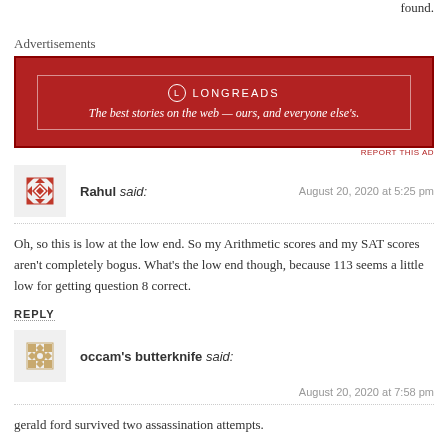found.
Advertisements
[Figure (other): Longreads advertisement banner — red background, white text: 'The best stories on the web — ours, and everyone else's.']
REPORT THIS AD
Rahul said: August 20, 2020 at 5:25 pm
Oh, so this is low at the low end. So my Arithmetic scores and my SAT scores aren't completely bogus. What's the low end though, because 113 seems a little low for getting question 8 correct.
REPLY
occam's butterknife said: August 20, 2020 at 7:58 pm
gerald ford survived two assassination attempts.

reagan survived one.